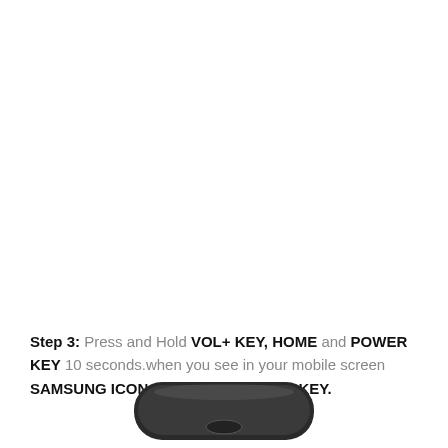Step 3: Press and Hold VOL+ KEY, HOME and POWER KEY 10 seconds.when you see in your mobile screen SAMSUNG ICON release only POWER KEY.
[Figure (photo): Bottom portion of a Samsung mobile device shown from above, with a rounded rectangular shape and dark color.]